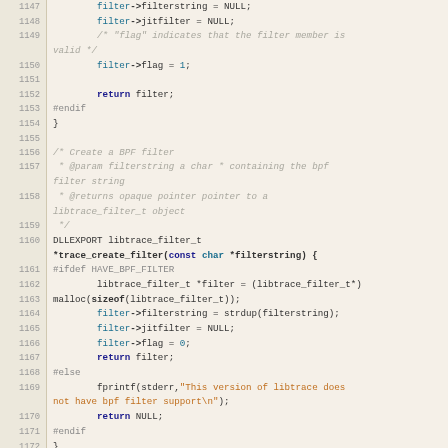[Figure (screenshot): Source code listing in C, lines 1147-1174, showing filter creation and destruction functions in a libtrace library. Code editor view with line numbers on left, syntax highlighting with keywords in bold dark blue, types/numbers in teal, comments in gray italic, strings in orange.]